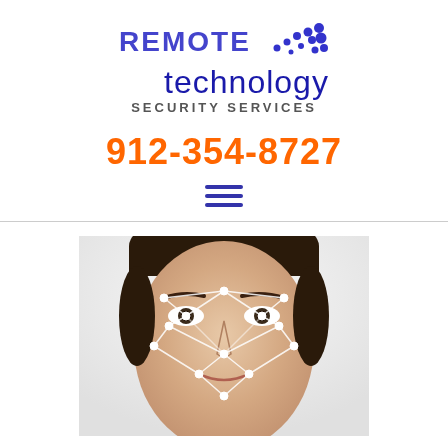[Figure (logo): Remote Technology Security Services logo with blue text 'REMOTE technology' and dotted pattern, subtitle 'SECURITY SERVICES']
912-354-8727
[Figure (other): Hamburger menu icon with three horizontal blue lines]
[Figure (photo): Close-up photo of a woman's face with white facial recognition geometric overlay lines and dots mapped across facial features]